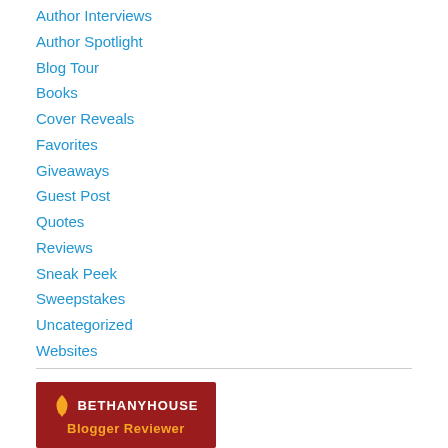Author Interviews
Author Spotlight
Blog Tour
Books
Cover Reveals
Favorites
Giveaways
Guest Post
Quotes
Reviews
Sneak Peek
Sweepstakes
Uncategorized
Websites
[Figure (logo): Bethany House Blogger Reviewer logo — red background with white torch icon, white uppercase text 'BethanyHouse', and gold text 'Blogger Reviewer']